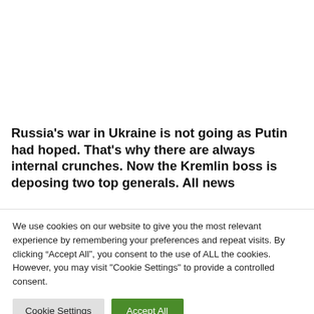Russia's war in Ukraine is not going as Putin had hoped. That's why there are always internal crunches. Now the Kremlin boss is deposing two top generals. All news
We use cookies on our website to give you the most relevant experience by remembering your preferences and repeat visits. By clicking “Accept All”, you consent to the use of ALL the cookies. However, you may visit "Cookie Settings" to provide a controlled consent.